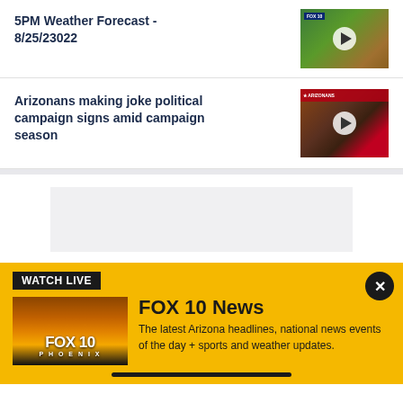5PM Weather Forecast - 8/25/23022
[Figure (screenshot): Weather forecast video thumbnail with radar imagery and play button]
Arizonans making joke political campaign signs amid campaign season
[Figure (screenshot): Political campaign sign video thumbnail with play button]
[Figure (screenshot): Advertisement placeholder block]
WATCH LIVE
[Figure (screenshot): FOX 10 Phoenix logo thumbnail with sunset background]
FOX 10 News
The latest Arizona headlines, national news events of the day + sports and weather updates.